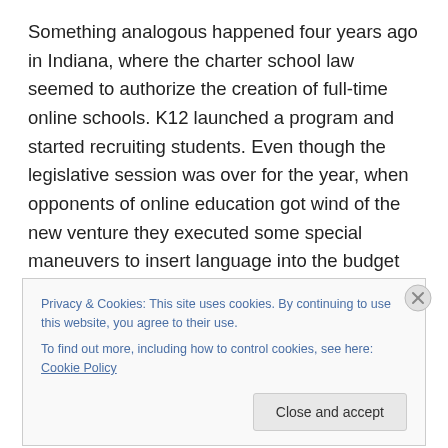Something analogous happened four years ago in Indiana, where the charter school law seemed to authorize the creation of full-time online schools. K12 launched a program and started recruiting students. Even though the legislative session was over for the year, when opponents of online education got wind of the new venture they executed some special maneuvers to insert language into the budget bill to kill the virtual charters. While a hybrid model did get up and running, it was on a far smaller scale than originally intended, leaving most of the interested
Privacy & Cookies: This site uses cookies. By continuing to use this website, you agree to their use.
To find out more, including how to control cookies, see here: Cookie Policy
Close and accept